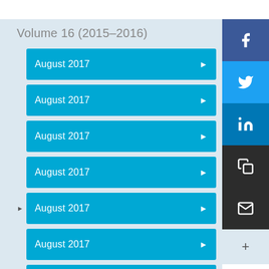Volume 16 (2015–2016)
August 2017
August 2017
August 2017
August 2017
August 2017
August 2017
August 2017
August 2017